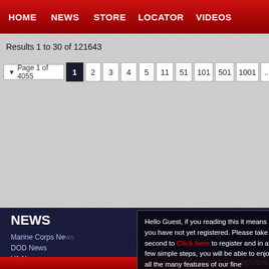HOME  NEWS  STORE  LOCATOR  VIDEOS
Results 1 to 30 of 121643
Page 1 of 4055  1  2  3  4  5  11  51  101  501  1001  ...  ▶
NEWS
Marine Corps News
DOD News
VA News
US News
World News
Politics
Hello Guest, if you reading this it means you have not yet registered. Please take a second to Click here to register and in a few simple steps, you will be able to enjoy all the many features of our fine community. Please note that nicknames are prohibited lewd or meaningless (no numbers or letters at random) and introduce yourself in the section for you to meet our community.
CONTACT US  MARIN
Marine Corps Family